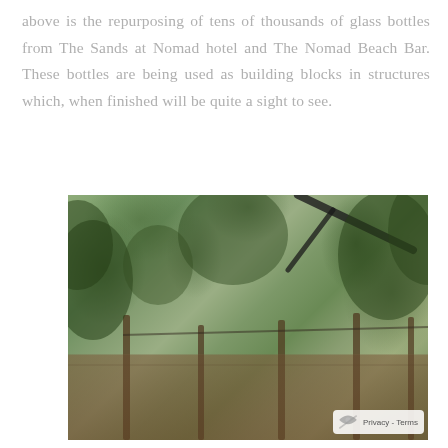above is the repurposing of tens of thousands of glass bottles from The Sands at Nomad hotel and The Nomad Beach Bar. These bottles are being used as building blocks in structures which, when finished will be quite a sight to see.
[Figure (photo): Outdoor garden or farm area with wooden posts/poles supporting a structure, surrounded by lush green tropical trees and foliage. The ground is covered with reddish-brown soil. A diagonal pole or pipe is visible in the upper portion.]